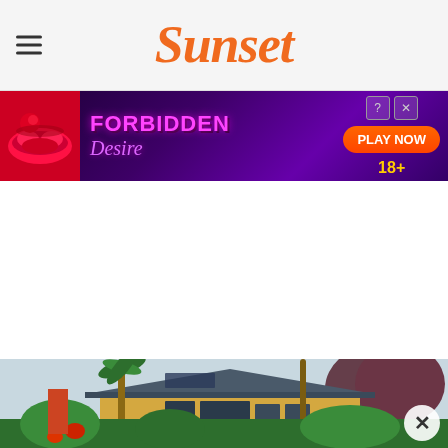Sunset
[Figure (other): Advertisement banner for 'Forbidden Desire' game with lips graphic, purple gradient background, 'PLAY NOW' button, 18+ label]
[Figure (photo): Exterior photo of a yellow/ochre single-story house with dark roof, palm trees and red-leafed trees in the foreground, lush tropical landscaping]